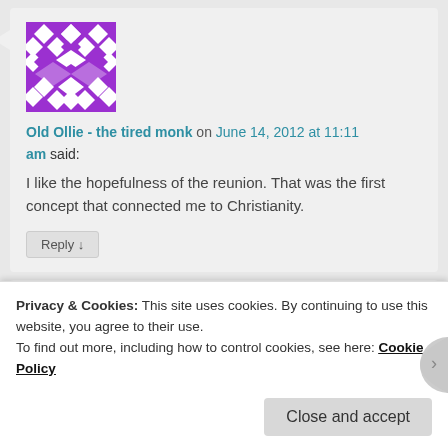[Figure (illustration): Purple geometric mosaic avatar icon for user Old Ollie - the tired monk]
Old Ollie - the tired monk on June 14, 2012 at 11:11 am said:
I like the hopefulness of the reunion. That was the first concept that connected me to Christianity.
Reply ↓
[Figure (screenshot): Second comment block partially visible with dark blue rectangular avatar placeholder]
Privacy & Cookies: This site uses cookies. By continuing to use this website, you agree to their use.
To find out more, including how to control cookies, see here: Cookie Policy
Close and accept